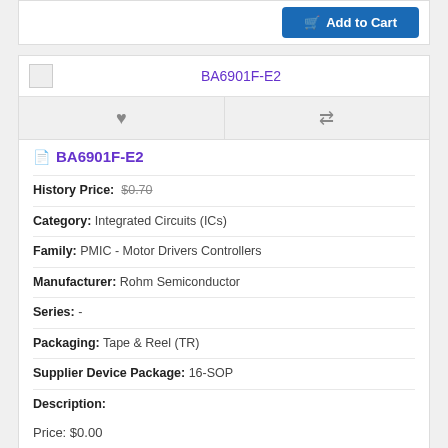[Figure (screenshot): Add to Cart button (blue) at top of page, partially visible]
BA6901F-E2
BA6901F-E2
History Price: $0.70
Category: Integrated Circuits (ICs)
Family: PMIC - Motor Drivers Controllers
Manufacturer: Rohm Semiconductor
Series: -
Packaging: Tape & Reel (TR)
Supplier Device Package: 16-SOP
Description:
Price: $0.00
Availability: 2999